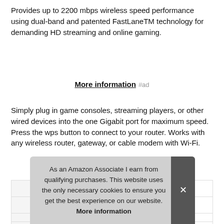Provides up to 2200 mbps wireless speed performance using dual-band and patented FastLaneTM technology for demanding HD streaming and online gaming.
More information #ad
Simply plug in game consoles, streaming players, or other wired devices into the one Gigabit port for maximum speed. Press the wps button to connect to your router. Works with any wireless router, gateway, or cable modem with Wi-Fi.
|  |  |
| --- | --- |
| Brand | NETGEAR #ad |
| Ma |  |
|  |  |
| Weight | 1.05 Pounds |
As an Amazon Associate I earn from qualifying purchases. This website uses the only necessary cookies to ensure you get the best experience on our website. More information